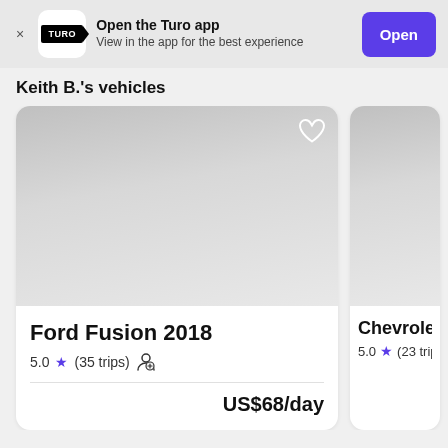[Figure (screenshot): App banner prompting user to open the Turo app, with Turo logo icon, text, and a purple Open button]
Keith B.'s vehicles
[Figure (screenshot): Vehicle listing card for Ford Fusion 2018, 5.0 stars, 35 trips, US$68/day]
[Figure (screenshot): Partially visible vehicle listing card for a Chevrolet, 5.0 stars, 23 trips (cut off)]